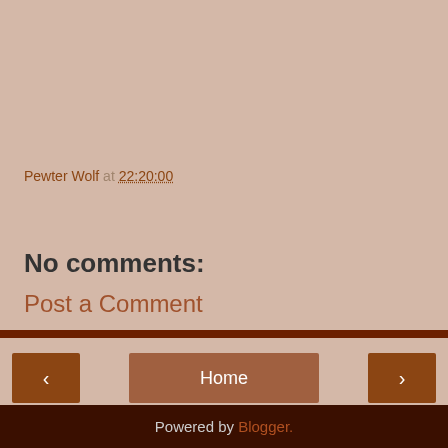Pewter Wolf at 22:20:00
Share
No comments:
Post a Comment
Home
View web version
Powered by Blogger.